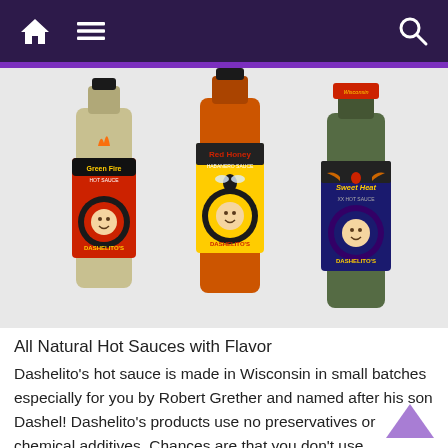Navigation bar with home, menu, and search icons
[Figure (photo): Three bottles of Dashelito's hot sauce side by side: Green Fire Hot Sauce (left, clear bottle with green sauce and red/black label), Red Honey Habanero Sauce (center, orange bottle with yellow/black label and bee graphic), and Sweet Heat Hot Sauce (right, dark bottle with blue/black label and wing graphic). All bottles feature the Dashelito's logo with a baby face.]
All Natural Hot Sauces with Flavor
Dashelito's hot sauce is made in Wisconsin in small batches especially for you by Robert Grether and named after his son Dashel! Dashelito's products use no preservatives or chemical additives. Chances are that you don't use ingredients like xanthan gum in your kitchen and neither do we.